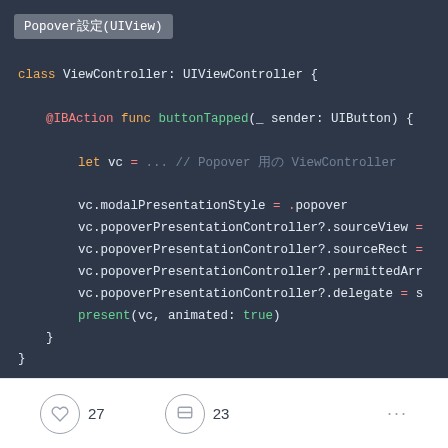[Figure (screenshot): Swift code screenshot in a dark-themed IDE showing a ViewController class with a buttonTapped IBAction method that sets up a popover presentation style and presents a view controller.]
27
23